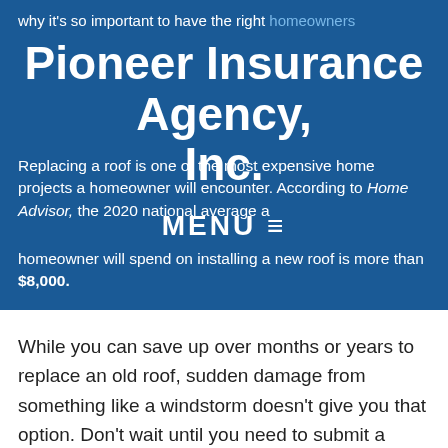why it's so important to have the right homeowners policy. Replacing a roof is one of the most expensive home projects a homeowner will encounter. According to Home Advisor, the 2020 national average a homeowner will spend on installing a new roof is more than $8,000.
Pioneer Insurance Agency, Inc.
MENU ≡
While you can save up over months or years to replace an old roof, sudden damage from something like a windstorm doesn't give you that option. Don't wait until you need to submit a claim to understand what your policy can – and can't – pay to replace. Keep reading for general answers to a few common questions. As always, your local Erie